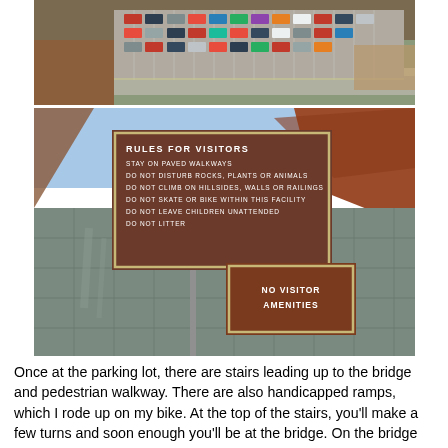[Figure (photo): Aerial view of a parking lot with many cars parked, rocky terrain visible]
[Figure (photo): Two brown signs mounted on a concrete wall. Top sign reads 'RULES FOR VISITORS' with rules: STAY ON PAVED WALKWAYS, DO NOT DISTURB ROCKS, PLANTS OR ANIMALS, DO NOT CLIMB ON HILLSIDES, WALLS OR RAILINGS, DO NOT SKATE OR BIKE WITHIN THIS FACILITY, DO NOT LEAVE CHILDREN UNATTENDED, DO NOT LITTER. Bottom sign reads 'NO VISITOR AMENITIES'.]
Once at the parking lot, there are stairs leading up to the bridge and pedestrian walkway. There are also handicapped ramps, which I rode up on my bike. At the top of the stairs, you'll make a few turns and soon enough you'll be at the bridge. On the bridge itself, there is about a four-foot wide pedestrian lane on the north side, facing the Dam. There is a concrete wall separating the pedestrian walkway from car traffic, so you can enjoy the bridge